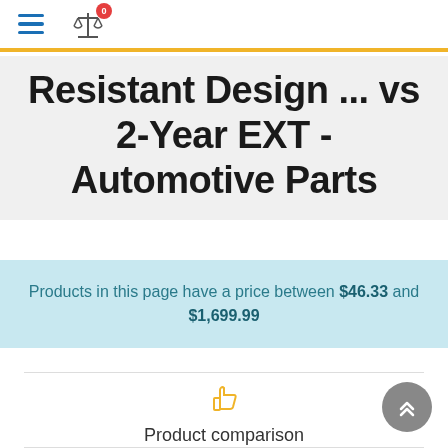Navigation bar with hamburger menu and compare icon (0 items)
Rugged/Sealed and Spin Resistant Design ... vs 2-Year EXT - Automotive Parts
Products in this page have a price between $46.33 and $1,699.99
Product comparison
4 products added